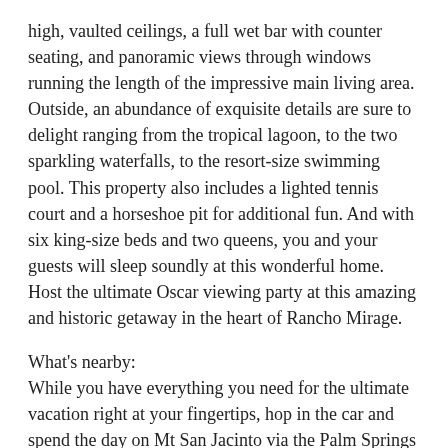high, vaulted ceilings, a full wet bar with counter seating, and panoramic views through windows running the length of the impressive main living area. Outside, an abundance of exquisite details are sure to delight ranging from the tropical lagoon, to the two sparkling waterfalls, to the resort-size swimming pool. This property also includes a lighted tennis court and a horseshoe pit for additional fun. And with six king-size beds and two queens, you and your guests will sleep soundly at this wonderful home. Host the ultimate Oscar viewing party at this amazing and historic getaway in the heart of Rancho Mirage.
What's nearby:
While you have everything you need for the ultimate vacation right at your fingertips, hop in the car and spend the day on Mt San Jacinto via the Palm Springs Aerial Tramway (just 17 miles away) where you will ascend to over 8,000 feet to experience breathtaking views of the Coachella Valley. For those...